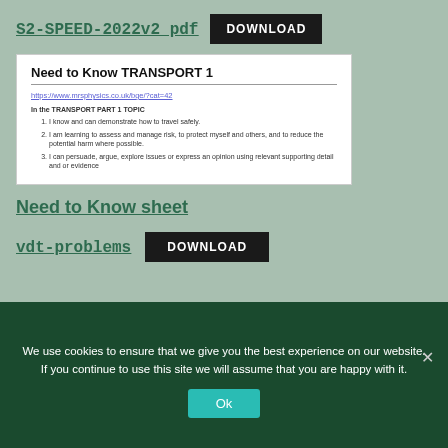S2-SPEED-2022v2 pdf
DOWNLOAD
[Figure (screenshot): White card preview of 'Need to Know TRANSPORT 1' document showing a URL link, topic header 'In the TRANSPORT PART 1 TOPIC', and three numbered learning objectives.]
Need to Know sheet
vdt-problems
DOWNLOAD
We use cookies to ensure that we give you the best experience on our website. If you continue to use this site we will assume that you are happy with it.
Ok